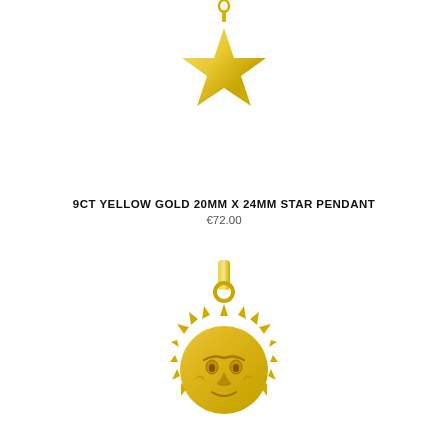[Figure (photo): Gold star pendant with small bail/ring at top, photographed on white background. 9ct yellow gold, flat five-pointed star shape.]
9CT YELLOW GOLD 20MM X 24MM STAR PENDANT
€72.00
[Figure (photo): Gold sun face pendant with bail/ring at top, photographed on white background. Sun has detailed face with rays around it, 9ct yellow gold.]